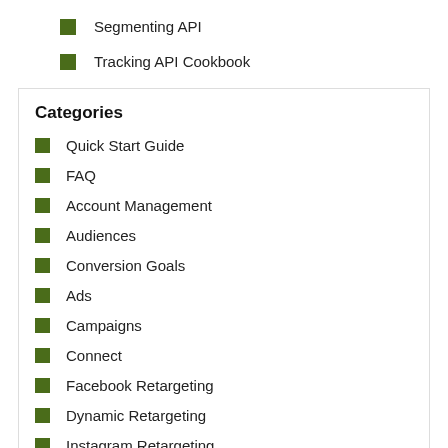Segmenting API
Tracking API Cookbook
Categories
Quick Start Guide
FAQ
Account Management
Audiences
Conversion Goals
Ads
Campaigns
Connect
Facebook Retargeting
Dynamic Retargeting
Instagram Retargeting